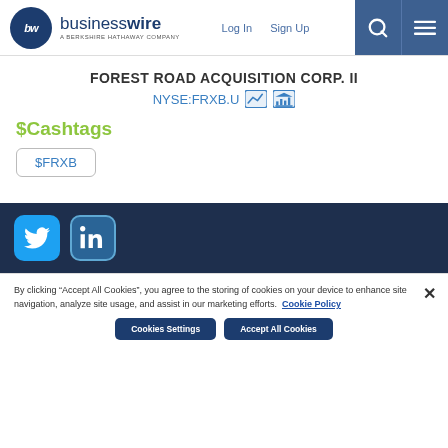businesswire — A BERKSHIRE HATHAWAY COMPANY | Log In | Sign Up
FOREST ROAD ACQUISITION CORP. II
NYSE:FRXB.U
$Cashtags
$FRXB
[Figure (logo): Twitter and LinkedIn social media icons in footer dark band]
By clicking “Accept All Cookies”, you agree to the storing of cookies on your device to enhance site navigation, analyze site usage, and assist in our marketing efforts.   Cookie Policy
Cookies Settings   Accept All Cookies